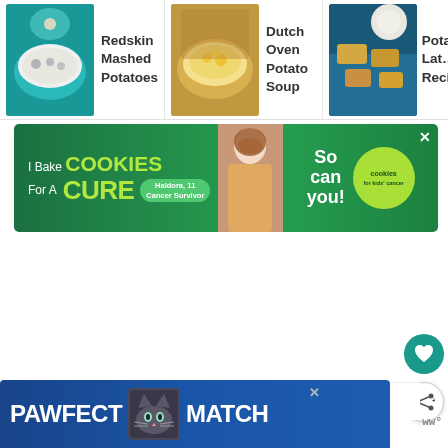[Figure (screenshot): Top navigation strip with three food recipe thumbnails. Item 1: bowl image with text 'Redskin Mashed Potatoes'. Item 2: soup bowl image with text 'Dutch Oven Potato Soup'. Item 3: potato dish image (partially visible) with text 'Potato Lat... Recipe' and a right arrow.]
[Figure (screenshot): Advertisement banner: 'I Bake COOKIES For A CURE' with a girl holding cookies, text 'Haldora, 11 Cancer Survivor', right side says 'So can you!' with a green Cookies for Kids' Cancer circle logo. Close X button top right.]
[Figure (screenshot): Floating action button: teal circle with heart icon on right side of page.]
[Figure (screenshot): Floating action button: white circle with share/add icon on right side of page.]
Jump To
[Figure (screenshot): Bottom advertisement banner: 'PAWFECT MATCH' in white bold text on dark blue background, with a cat face graphic in the center. Close X button. Wordmark 'ww°' on the right.]